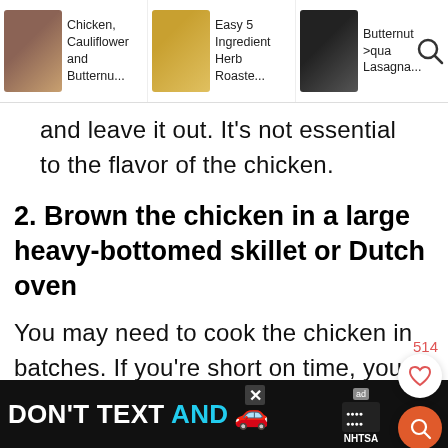Chicken, Cauliflower and Butternu... | Easy 5 Ingredient Herb Roaste... | Butternut Squa... Lasagna...
and leave it out. It's not essential to the flavor of the chicken.
2. Brown the chicken in a large heavy-bottomed skillet or Dutch oven
You may need to cook the chicken in batches. If you're short on time, you may also chop the chicken into cubes
[Figure (screenshot): Advertisement banner: DON'T TEXT AND [car emoji] with NHTSA logo and ad badge]